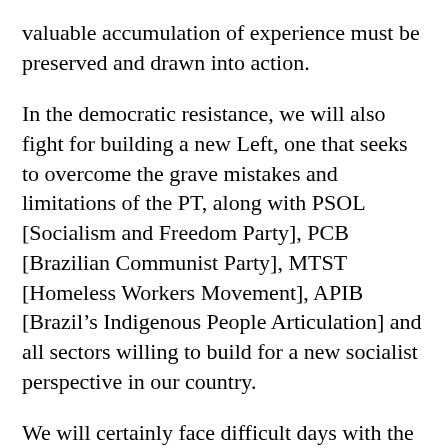valuable accumulation of experience must be preserved and drawn into action.
In the democratic resistance, we will also fight for building a new Left, one that seeks to overcome the grave mistakes and limitations of the PT, along with PSOL [Socialism and Freedom Party], PCB [Brazilian Communist Party], MTST [Homeless Workers Movement], APIB [Brazil’s Indigenous People Articulation] and all sectors willing to build for a new socialist perspective in our country.
We will certainly face difficult days with the election of Bolsonaro. But we need to keep our heads and our morale high. Truth is on our side. The rise of neofascism must be responded to by broad unity from the left and democratic sectors of society, and we must do so with courage.
Let us unite all “activisms,” all movements, collectives and organizations. Let’s hold our hands together